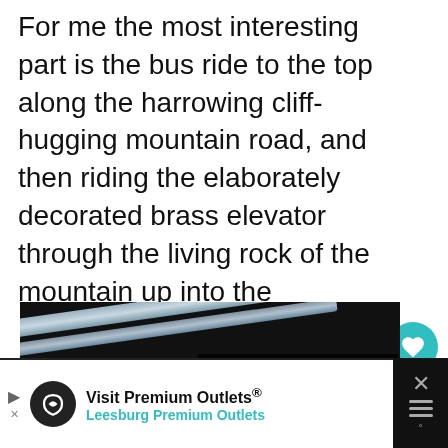For me the most interesting part is the bus ride to the top along the harrowing cliff-hugging mountain road, and then riding the elaborately decorated brass elevator through the living rock of the mountain up into the Kehlsteinhaus. The road was blasted out in a mere 13 months and is considered a feat of engineering, after having been up and down it I have to agree. What we loved most about the hair-pinned ride was the views…just gorgeo…
[Figure (photo): Dark photograph showing a cable or rail in a mountain environment, with a sign visible in the lower left. A 'What's Next' overlay shows a thumbnail and text 'Ravenna – Chock Full o...' A play button is visible at the bottom center.]